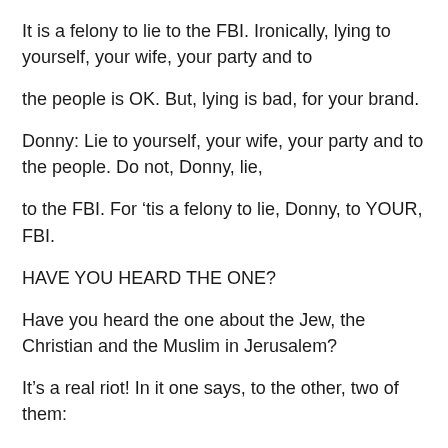It is a felony to lie to the FBI. Ironically, lying to yourself, your wife, your party and to
the people is OK. But, lying is bad, for your brand.
Donny: Lie to yourself, your wife, your party and to the people. Do not, Donny, lie,
to the FBI. For ‘tis a felony to lie, Donny, to YOUR, FBI.
HAVE YOU HEARD THE ONE?
Have you heard the one about the Jew, the Christian and the Muslim in Jerusalem?
It’s a real riot! In it one says, to the other, two of them:
“Yo, bro! So long as there’s peace amongst nations, Armageddon cannot ever be,”